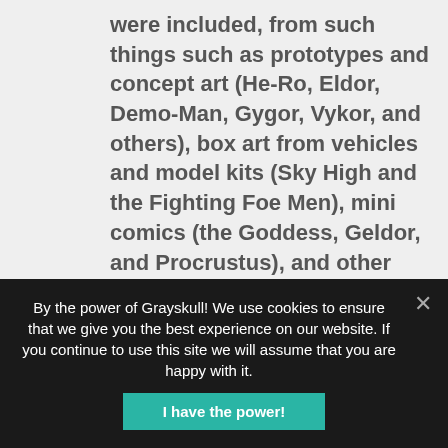were included, from such things such as prototypes and concept art (He-Ro, Eldor, Demo-Man, Gygor, Vykor, and others), box art from vehicles and model kits (Sky High and the Fighting Foe Men), mini comics (the Goddess, Geldor, and Procrustus), and other books, comics, and media (Despara, Strobo, Goat-Man, and more). There were also newly created figures, exclusive to the Classics toy line, such as Draego-Man, Cy-Chop, Castle Grayskullman, and others. In February 2010
By the power of Grayskull! We use cookies to ensure that we give you the best experience on our website. If you continue to use this site we will assume that you are happy with it.
I have the power!